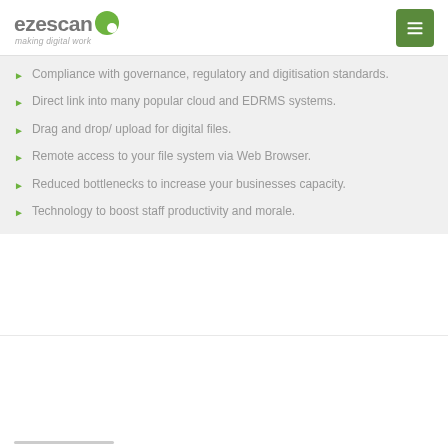ezescan making digital work
Compliance with governance, regulatory and digitisation standards.
Direct link into many popular cloud and EDRMS systems.
Drag and drop/ upload for digital files.
Remote access to your file system via Web Browser.
Reduced bottlenecks to increase your businesses capacity.
Technology to boost staff productivity and morale.